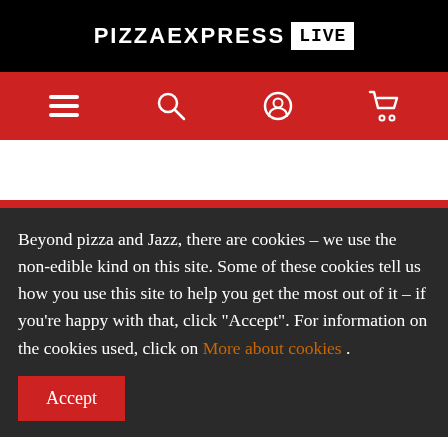[Figure (logo): PizzaExpress LIVE logo in white text on black background]
[Figure (screenshot): Red navigation bar with hamburger menu, search icon, user icon, and cart icon in white]
Beyond pizza and Jazz, there are cookies – we use the non-edible kind on this site. Some of these cookies tell us how you use this site to help you get the most out of it – if you're happy with that, click "Accept". For information on the cookies used, click on More about cookies .
Accept